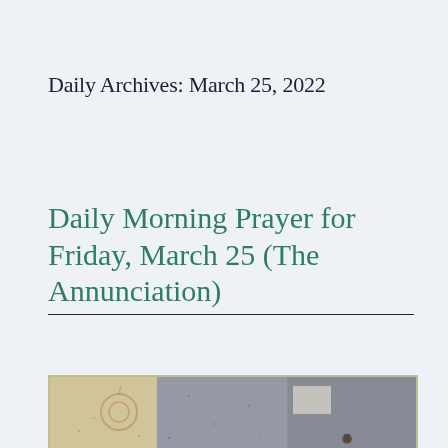Daily Archives: March 25, 2022
Daily Morning Prayer for Friday, March 25 (The Annunciation)
[Figure (photo): Framed artwork with multiple panels: warm beige/gold left panel with swirl motif, center and right panels with grey-blue textured surface and a small white rectangle and dark figure or element at the bottom.]